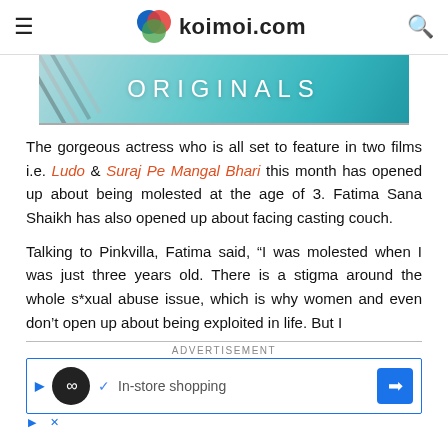koimoi.com
[Figure (illustration): Koimoi Originals banner with teal gradient background and diagonal stripe on left]
The gorgeous actress who is all set to feature in two films i.e. Ludo & Suraj Pe Mangal Bhari this month has opened up about being molested at the age of 3. Fatima Sana Shaikh has also opened up about facing casting couch.
Talking to Pinkvilla, Fatima said, “I was molested when I was just three years old. There is a stigma around the whole s*xual abuse issue, which is why women and even don’t open up about being exploited in life. But I
ADVERTISEMENT
[Figure (screenshot): Advertisement banner showing in-store shopping with Google icons]